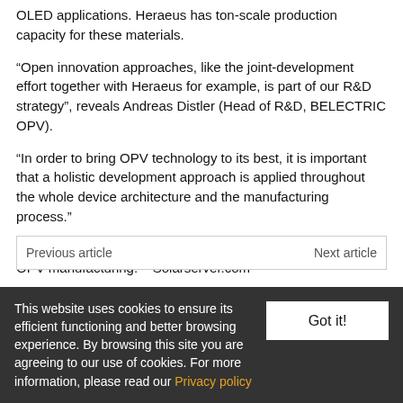OLED applications. Heraeus has ton-scale production capacity for these materials.
“Open innovation approaches, like the joint-development effort together with Heraeus for example, is part of our R&D strategy”, reveals Andreas Distler (Head of R&D, BELECTRIC OPV).
“In order to bring OPV technology to its best, it is important that a holistic development approach is applied throughout the whole device architecture and the manufacturing process.”
This also adds to the great potential for scalability of printed OPV manufacturing. – Solarserver.com
Previous article   Next article
This website uses cookies to ensure its efficient functioning and better browsing experience. By browsing this site you are agreeing to our use of cookies. For more information, please read our Privacy policy